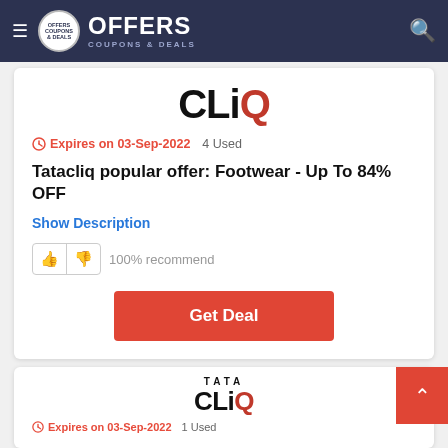OFFERS COUPONS & DEALS
[Figure (logo): TataCLiQ logo - CLiQ text in large black bold font]
Expires on 03-Sep-2022   4 Used
Tatacliq popular offer: Footwear - Up To 84% OFF
Show Description
100% recommend
Get Deal
[Figure (logo): TATA CLiQ logo - TATA above CLiQ in large bold font]
Expires on 03-Sep-2022   1 Used